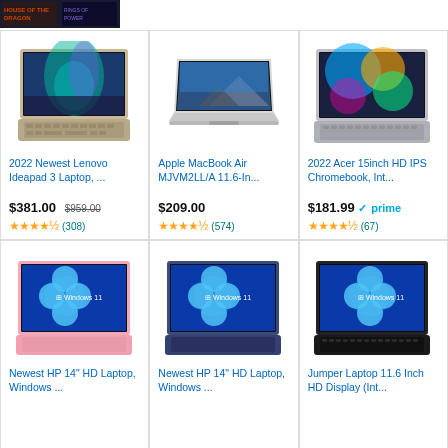[Figure (screenshot): Top banner with dark background showing game-related imagery and text]
[Figure (photo): 2022 Newest Lenovo Ideapad 3 laptop with aurora wallpaper]
2022 Newest Lenovo Ideapad 3 Laptop, ...
$381.00 $959.00
(308)
[Figure (photo): Apple MacBook Air MJVM2LL/A 11.6-in laptop silver]
Apple MacBook Air MJVM2LL/A 11.6-In...
$209.00
(574)
[Figure (photo): 2022 Acer 15inch HD IPS Chromebook silver with colorful wallpaper]
2022 Acer 15inch HD IPS Chromebook, Int...
$181.99 prime
(67)
[Figure (photo): Newest HP 14 inch HD Laptop pink Windows 11]
Newest HP 14" HD Laptop, Windows ...
[Figure (photo): Newest HP 14 inch HD Laptop blue Windows 11]
Newest HP 14" HD Laptop, Windows ...
[Figure (photo): Jumper Laptop 11.6 Inch HD Display black Windows 11]
Jumper Laptop 11.6 Inch HD Display (Int...